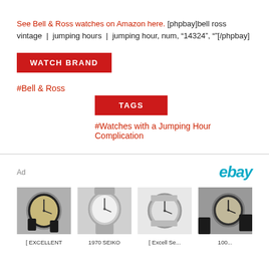See Bell & Ross watches on Amazon here. [phpbay]bell ross vintage | jumping hours | jumping hour, num, “14324”, “”[/phpbay]
WATCH BRAND
#Bell & Ross
TAGS
#Watches with a Jumping Hour Complication
Ad
[Figure (logo): eBay logo in teal/cyan color]
[Figure (photo): Four watch product thumbnail images showing vintage watches, part of an eBay advertisement]
[ EXCELLENT        1970 SEIKO        [ Excell Se...        100...